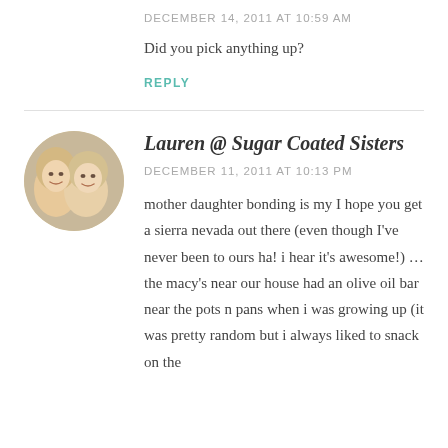DECEMBER 14, 2011 AT 10:59 AM
Did you pick anything up?
REPLY
[Figure (photo): Circular avatar photo of two blonde women smiling together]
Lauren @ Sugar Coated Sisters
DECEMBER 11, 2011 AT 10:13 PM
mother daughter bonding is my I hope you get a sierra nevada out there (even though I've never been to ours ha! i hear it's awesome!) … the macy's near our house had an olive oil bar near the pots n pans when i was growing up (it was pretty random but i always liked to snack on the